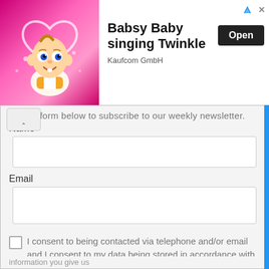[Figure (screenshot): Advertisement banner for 'Babsy Baby singing Twinkle' by Kaufcom GmbH, with a cartoon baby character on a pink background, an 'Open' button, and close/ad-choice icons.]
...form below to subscribe to our weekly newsletter.
Name
Email
☐ I consent to being contacted via telephone and/or email and I consent to my data being stored in accordance with European GDPR regulations and agree to the terms of use and privacy policy.
Submit
information you give us